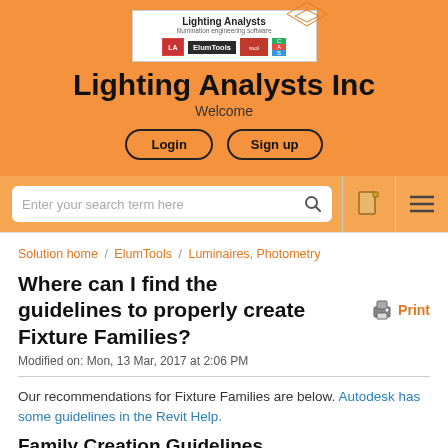[Figure (logo): Lighting Analysts Inc logo with ElumTools and other product logos]
Lighting Analysts Inc
Welcome
Login   Sign up
Enter your search term here
Solution home / ElumTools / Luminaires, Photometry
Where can I find the guidelines to properly create Fixture Families?
Modified on: Mon, 13 Mar, 2017 at 2:06 PM
Our recommendations for Fixture Families are below. Autodesk has some guidelines in the Revit Help.
Family Creation Guidelines